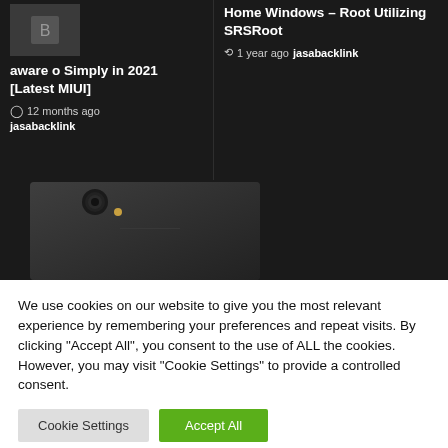aware o Simply in 2021 [Latest MIUI]
12 months ago jasabacklink
Home Windows – Root Utilizing SRSRoot
1 year ago jasabacklink
[Figure (photo): Back view of a Sony smartphone (Xperia) showing camera lens and LED flash on dark background]
We use cookies on our website to give you the most relevant experience by remembering your preferences and repeat visits. By clicking "Accept All", you consent to the use of ALL the cookies. However, you may visit "Cookie Settings" to provide a controlled consent.
Cookie Settings
Accept All